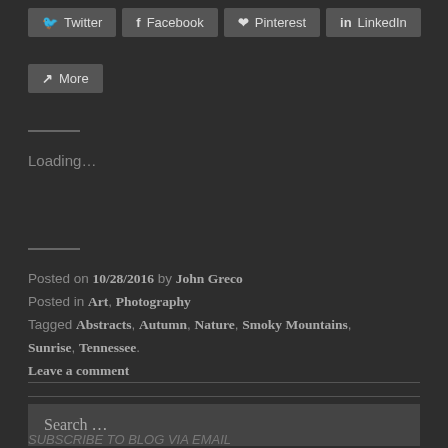[Figure (other): Social sharing buttons: Twitter, Facebook, Pinterest, LinkedIn, More]
Loading…
Posted on 10/28/2016 by John Greco
Posted in Art, Photography
Tagged Abstracts, Autumn, Nature, Smoky Mountains, Sunrise, Tennessee.
Leave a comment
Search …
SUBSCRIBE TO BLOG VIA EMAIL